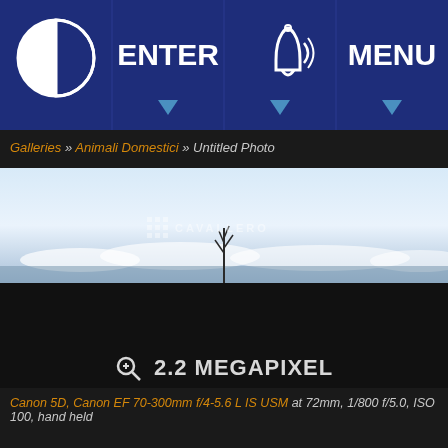[Figure (screenshot): Navigation bar with four buttons: a split-circle icon, ENTER with dropdown arrow, a bell/notification icon with sound waves, and MENU with dropdown arrow. Dark blue background.]
Galleries » Animali Domestici » Untitled Photo
[Figure (photo): Landscape photo showing a pale blue sky with white clouds near the horizon, and a dark plant silhouette in the center foreground. Has a CAVALLERO watermark.]
🔍 2.2 MEGAPIXEL
Canon 5D, Canon EF 70-300mm f/4-5.6 L IS USM at 72mm, 1/800 f/5.0, ISO 100, hand held